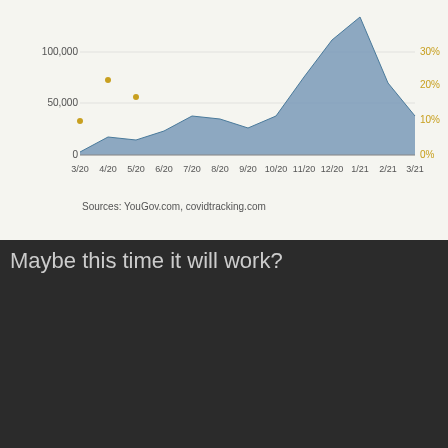[Figure (area-chart): COVID-19 daily cases and positivity rate]
Sources: YouGov.com, covidtracking.com
Maybe this time it will work?